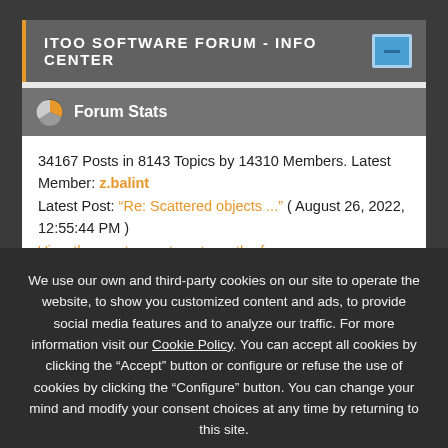ITOO SOFTWARE FORUM - INFO CENTER
Forum Stats
34167 Posts in 8143 Topics by 14310 Members. Latest Member: z.balint
Latest Post: "Re: Scattered objects ..." ( August 26, 2022, 12:55:44 PM )
View the most recent posts on the forum
We use our own and third-party cookies on our site to operate the website, to show you customized content and ads, to provide social media features and to analyze our traffic. For more information visit our Cookie Policy. You can accept all cookies by clicking the "Accept" button or configure or refuse the use of cookies by clicking the "Configure" button. You can change your mind and modify your consent choices at any time by returning to this site.
Configure    REJECT ALL    ACCEPT ALL